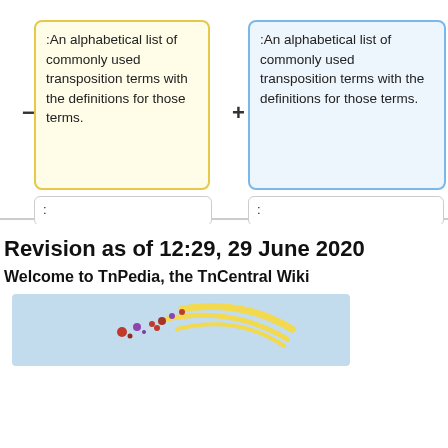:An alphabetical list of commonly used transposition terms with the definitions for those terms.
:An alphabetical list of commonly used transposition terms with the definitions for those terms.
:
:
Revision as of 12:29, 29 June 2020
Welcome to TnPedia, the TnCentral Wiki
[Figure (photo): A banner image showing a light blue background with decorative yellow curved lines and small red/purple figures, likely a wiki banner image for TnPedia/TnCentral.]